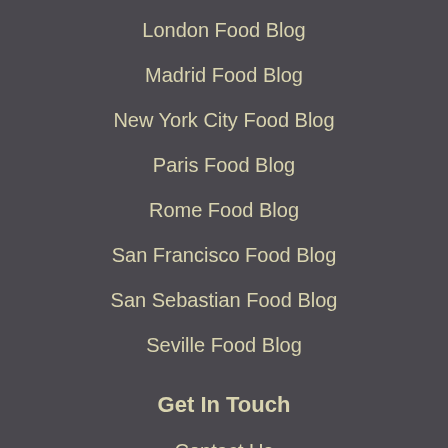London Food Blog
Madrid Food Blog
New York City Food Blog
Paris Food Blog
Rome Food Blog
San Francisco Food Blog
San Sebastian Food Blog
Seville Food Blog
Get In Touch
Contact Us
Gift Cards
Travel Agents